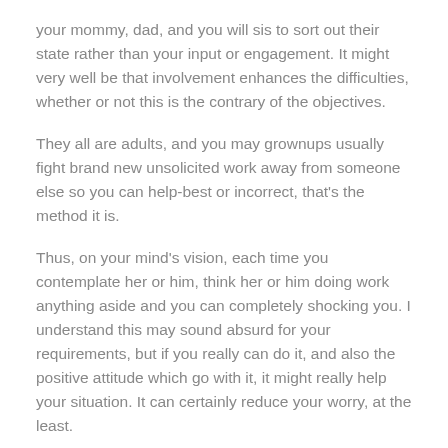your mommy, dad, and you will sis to sort out their state rather than your input or engagement. It might very well be that involvement enhances the difficulties, whether or not this is the contrary of the objectives.
They all are adults, and you may grownups usually fight brand new unsolicited work away from someone else so you can help-best or incorrect, that's the method it is.
Thus, on your mind's vision, each time you contemplate her or him, think her or him doing work anything aside and you can completely shocking you. I understand this may sound absurd for your requirements, but if you really can do it, and also the positive attitude which go with it, it might really help your situation. It can certainly reduce your worry, at the least.
I suggest you perform some around three journaling process on this page, to handle their points, and give a healthy and balanced expression to your fury. And make certain to follow up with new clips on that page, together with self-confident